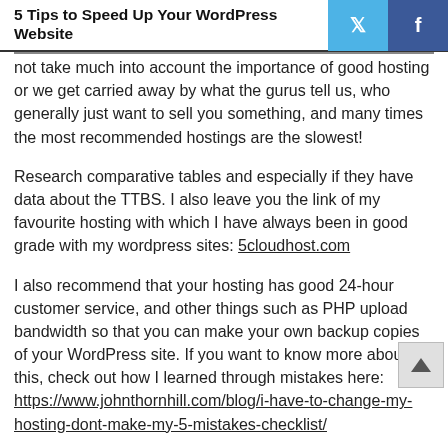5 Tips to Speed Up Your WordPress Website
not take much into account the importance of good hosting or we get carried away by what the gurus tell us, who generally just want to sell you something, and many times the most recommended hostings are the slowest!
Research comparative tables and especially if they have data about the TTBS. I also leave you the link of my favourite hosting with which I have always been in good grade with my wordpress sites: 5cloudhost.com
I also recommend that your hosting has good 24-hour customer service, and other things such as PHP upload bandwidth so that you can make your own backup copies of your WordPress site. If you want to know more about this, check out how I learned through mistakes here: https://www.johnthornhill.com/blog/i-have-to-change-my-hosting-dont-make-my-5-mistakes-checklist/